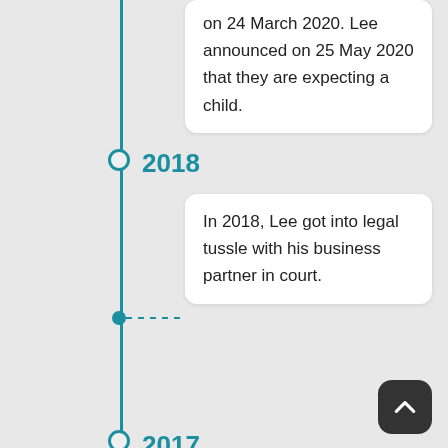on 24 March 2020. Lee announced on 25 May 2020 that they are expecting a child.
2018
In 2018, Lee got into legal tussle with his business partner in court.
2017
Lee Teng (simplified Chinese: 李腾 ; traditional Chinese: 李騰 ; pinyin: Lǐ Téng ) is a Taiwanese television host based in Singapore and on contract basis with Left Profile. Lee won the Top 10 Most Popular Male Artiste award and the Best Programme Host twice at the Star Awards.